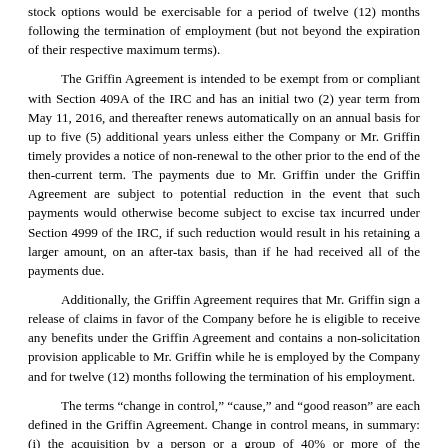stock options would be exercisable for a period of twelve (12) months following the termination of employment (but not beyond the expiration of their respective maximum terms).
The Griffin Agreement is intended to be exempt from or compliant with Section 409A of the IRC and has an initial two (2) year term from May 11, 2016, and thereafter renews automatically on an annual basis for up to five (5) additional years unless either the Company or Mr. Griffin timely provides a notice of non-renewal to the other prior to the end of the then-current term. The payments due to Mr. Griffin under the Griffin Agreement are subject to potential reduction in the event that such payments would otherwise become subject to excise tax incurred under Section 4999 of the IRC, if such reduction would result in his retaining a larger amount, on an after-tax basis, than if he had received all of the payments due.
Additionally, the Griffin Agreement requires that Mr. Griffin sign a release of claims in favor of the Company before he is eligible to receive any benefits under the Griffin Agreement and contains a non-solicitation provision applicable to Mr. Griffin while he is employed by the Company and for twelve (12) months following the termination of his employment.
The terms “change in control,” “cause,” and “good reason” are each defined in the Griffin Agreement. Change in control means, in summary: (i) the acquisition by a person or a group of 40% or more of the outstanding stock of the Company; (ii) a change, without approval by the Board of Directors, of a majority of the Board of Directors of the Company; (iii) the acquisition of the Company by means of a reorganization, merger, consolidation, or asset sale; or (iv) stockholder approval of a liquidation or dissolution of the Company. Cause means, in summary: (i) a deliberate act that is injurious to the business and